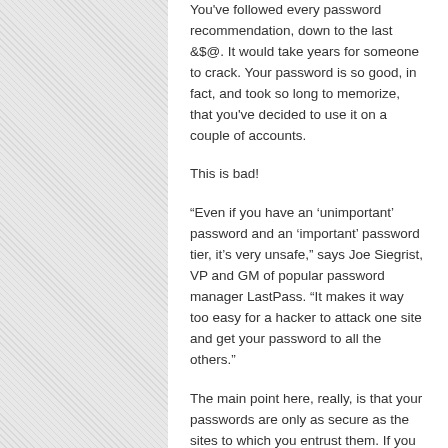You've followed every password recommendation, down to the last &$@. It would take years for someone to crack. Your password is so good, in fact, and took so long to memorize, that you've decided to use it on a couple of accounts.
This is bad!
“Even if you have an ‘unimportant’ password and an ‘important’ password tier, it’s very unsafe,” says Joe Siegrist, VP and GM of popular password manager LastPass. “It makes it way too easy for a hacker to attack one site and get your password to all the others.”
The main point here, really, is that your passwords are only as secure as the sites to which you entrust them. If you don’t want to pay dearly for someone else’s mistake, limit